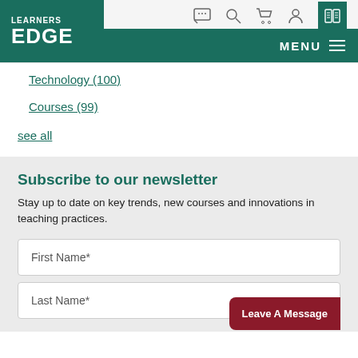LEARNERS EDGE
Technology (100)
Courses (99)
see all
Subscribe to our newsletter
Stay up to date on key trends, new courses and innovations in teaching practices.
First Name*
Last Name*
Leave A Message